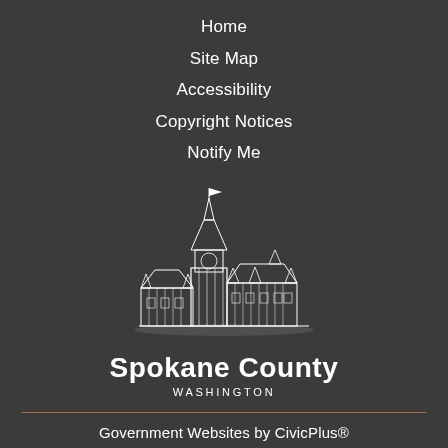Home
Site Map
Accessibility
Copyright Notices
Notify Me
[Figure (logo): Spokane County Washington logo with illustration of historic building/courthouse]
Government Websites by CivicPlus®